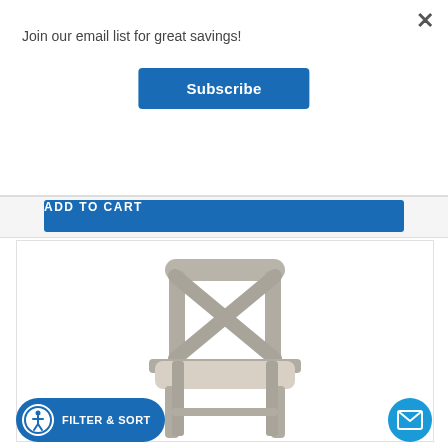Join our email list for great savings!
Subscribe
ADD TO CART
[Figure (photo): A gray/silver wooden dining chair with X-back design and upholstered light beige seat cushion, photographed on white background]
FILTER & SORT